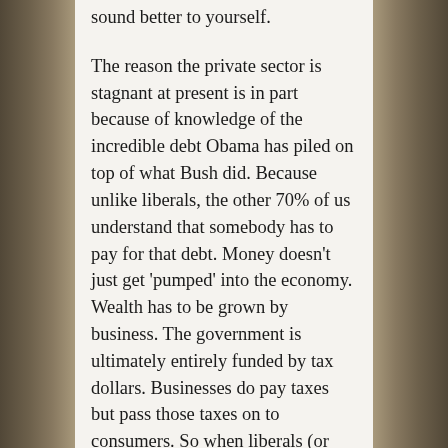sound better to yourself.
The reason the private sector is stagnant at present is in part because of knowledge of the incredible debt Obama has piled on top of what Bush did. Because unlike liberals, the other 70% of us understand that somebody has to pay for that debt. Money doesn't just get 'pumped' into the economy. Wealth has to be grown by business. The government is ultimately entirely funded by tax dollars. Businesses do pay taxes but pass those taxes on to consumers. So when liberals (or anybody else) spend trillions of government dollars, it comes out of our pockets. Knowledge that these increased taxes are coming